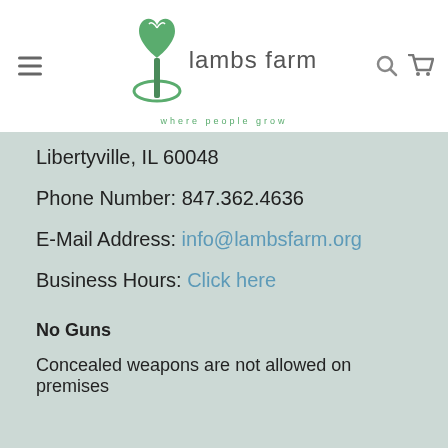lambs farm — where people grow
Libertyville, IL 60048
Phone Number: 847.362.4636
E-Mail Address: info@lambsfarm.org
Business Hours: Click here
No Guns
Concealed weapons are not allowed on premises